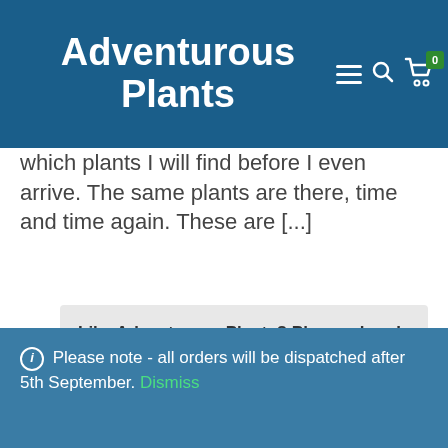Adventurous Plants
which plants I will find before I even arrive. The same plants are there, time and time again. These are [...]
Like Adventurous Plants? Please share!
Read more »
ⓘ Please note - all orders will be dispatched after 5th September. Dismiss